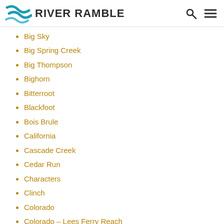RIVER RAMBLE
Big Sky
Big Spring Creek
Big Thompson
Bighorn
Bitterroot
Blackfoot
Bois Brule
California
Cascade Creek
Cedar Run
Characters
Clinch
Colorado
Colorado – Lees Ferry Reach
Copper
Craters of the Moon
Crooked
Cumberland